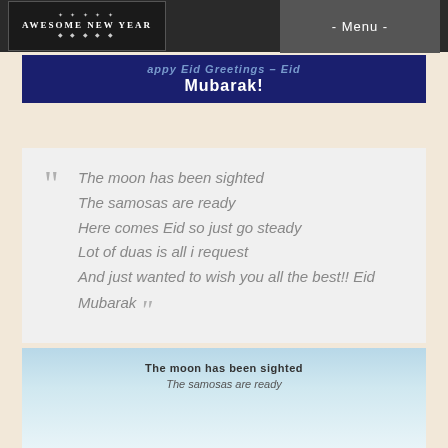AWESOME NEW YEAR - Menu -
Mubarak!
The moon has been sighted
The samosas are ready
Here comes Eid so just go steady
Lot of duas is all i request
And just wanted to wish you all the best!! Eid Mubarak
[Figure (photo): Bottom image strip with sky background and text 'The moon has been sighted']